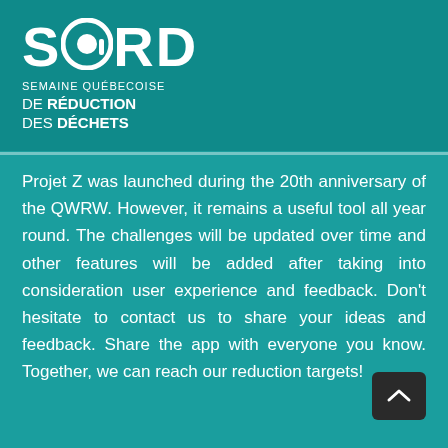[Figure (logo): SQRD logo — Semaine Québecoise de Réduction des Déchets — white text on teal background]
Projet Z was launched during the 20th anniversary of the QWRW. However, it remains a useful tool all year round. The challenges will be updated over time and other features will be added after taking into consideration user experience and feedback. Don't hesitate to contact us to share your ideas and feedback. Share the app with everyone you know. Together, we can reach our reduction targets!